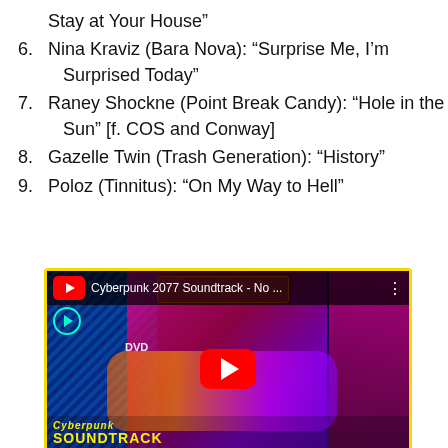Stay at Your House”
6. Nina Kraviz (Bara Nova): “Surprise Me, I’m Surprised Today”
7. Raney Shockne (Point Break Candy): “Hole in the Sun” [f. COS and Conway]
8. Gazelle Twin (Trash Generation): “History”
9. Poloz (Tinnitus): “On My Way to Hell”
[Figure (screenshot): YouTube video thumbnail for Cyberpunk 2077 Soundtrack - No Save Point, showing a cyberpunk city scene with a person in sunglasses, a motorcycle rider, and colorful neon lights. Text overlay reads 'Cyberpunk Soundtrack No Save Point' in yellow font. A red YouTube play button is centered on the image.]